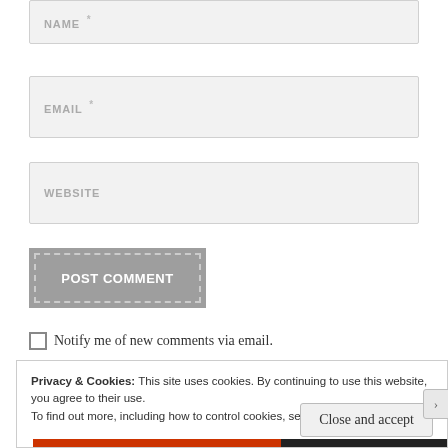NAME *
EMAIL *
WEBSITE
POST COMMENT
Notify me of new comments via email.
Privacy & Cookies: This site uses cookies. By continuing to use this website, you agree to their use. To find out more, including how to control cookies, see here: Cookie Policy
Close and accept